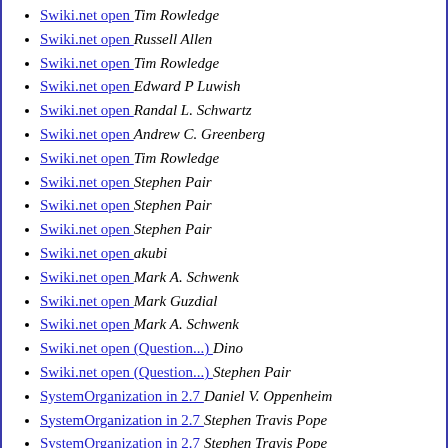Swiki.net open   Tim Rowledge
Swiki.net open   Russell Allen
Swiki.net open   Tim Rowledge
Swiki.net open   Edward P Luwish
Swiki.net open   Randal L. Schwartz
Swiki.net open   Andrew C. Greenberg
Swiki.net open   Tim Rowledge
Swiki.net open   Stephen Pair
Swiki.net open   Stephen Pair
Swiki.net open   Stephen Pair
Swiki.net open   akubi
Swiki.net open   Mark A. Schwenk
Swiki.net open   Mark Guzdial
Swiki.net open   Mark A. Schwenk
Swiki.net open (Question...)   Dino
Swiki.net open (Question...)   Stephen Pair
SystemOrganization in 2.7   Daniel V. Oppenheim
SystemOrganization in 2.7   Stephen Travis Pope
SystemOrganization in 2.7   Stephen Travis Pope
SystemOrganization in 2.7   Les Tyrrell
SystemWindow>>initialize   Stephan B. Wessels
SystemWindow>>initialize   Jason McVay
SystemWindow>>initialize   Stephan B. Wessels
TCP Sockets on Macs?   Stephen Travis Pope
TestCodeGenerator: coercion issues   Stephan Rudlof